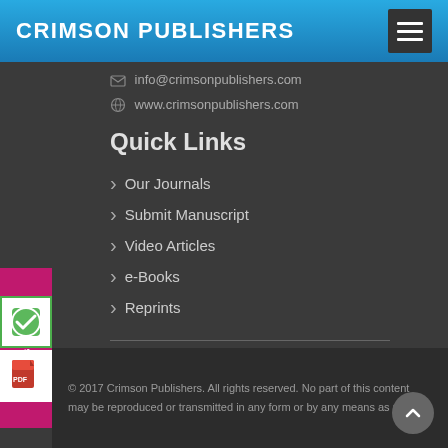CRIMSON PUBLISHERS
info@crimsonpublishers.com
www.crimsonpublishers.com
Quick Links
Our Journals
Submit Manuscript
Video Articles
e-Books
Reprints
[Figure (infographic): Social media icon row: Facebook, Twitter, Pinterest, Tumblr, LinkedIn circle icons]
© 2017 Crimson Publishers. All rights reserved. No part of this content may be reproduced or transmitted in any form or by any means as per the